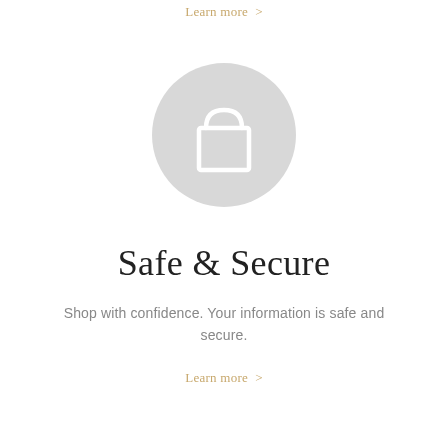Learn more >
[Figure (illustration): A light gray circle containing a white shopping bag / padlock icon outline]
Safe & Secure
Shop with confidence. Your information is safe and secure.
Learn more >